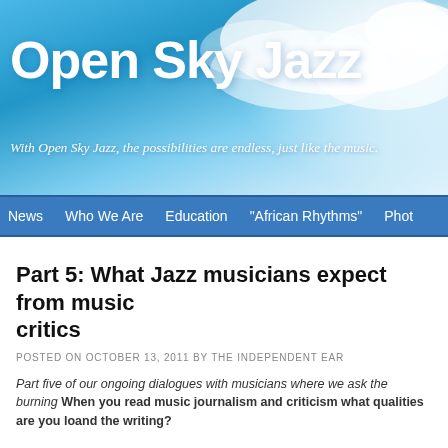[Figure (illustration): Open Sky Jazz website banner with sky and clouds background]
Open Sky Jazz
With Open Sky Jazz, the possibilities are endless, just like the music.
News   Who We Are   Education   "African Rhythms"   Phot
Part 5: What Jazz musicians expect from music critics
POSTED ON OCTOBER 13, 2011 BY THE INDEPENDENT EAR
Part five of our ongoing dialogues with musicians where we ask the burning question: When you read music journalism and criticism what qualities are you looking for in the critic and the writing?